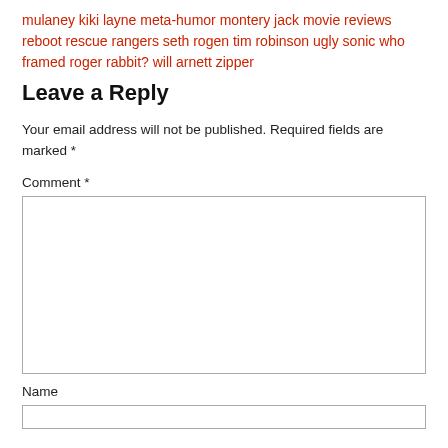mulaney kiki layne meta-humor montery jack movie reviews reboot rescue rangers seth rogen tim robinson ugly sonic who framed roger rabbit? will arnett zipper
Leave a Reply
Your email address will not be published. Required fields are marked *
Comment *
Name